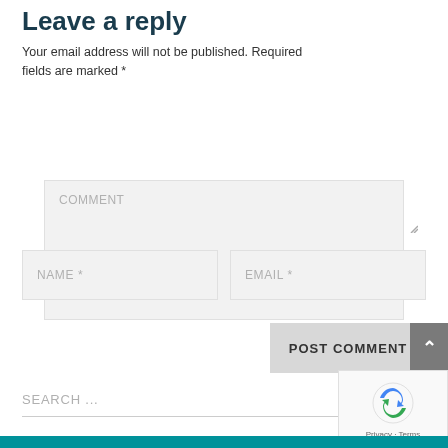Leave a reply
Your email address will not be published. Required fields are marked *
[Figure (screenshot): Comment text area input field with placeholder text COMMENT and resize handle]
[Figure (screenshot): Two inline input fields with placeholder text NAME * and EMAIL *]
[Figure (screenshot): POST COMMENT button and scroll-to-top arrow button]
[Figure (screenshot): Search input field with placeholder SEARCH ...]
[Figure (screenshot): reCAPTCHA widget with rotating arrows icon and Privacy - Terms text]
[Figure (screenshot): Teal colored bar at the bottom of the page]